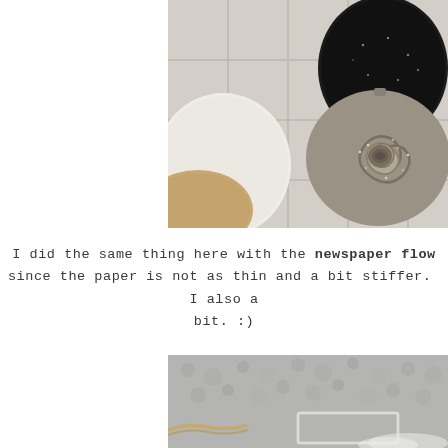[Figure (photo): Close-up photo of craft ornaments including a glittery silver newspaper rose flower, a black glitter ornament, and other decorative balls on a plaid background, partially cropped on right side.]
I did the same thing here with the newspaper flow... since the paper is not as thin and a bit stiffer.  I also a... bit. :)
[Figure (photo): Close-up photo of a gray textured surface (resembling stucco or clay) with a rectangular metal frame/cookie cutter and what appears to be twine or rope, partially cropped.]